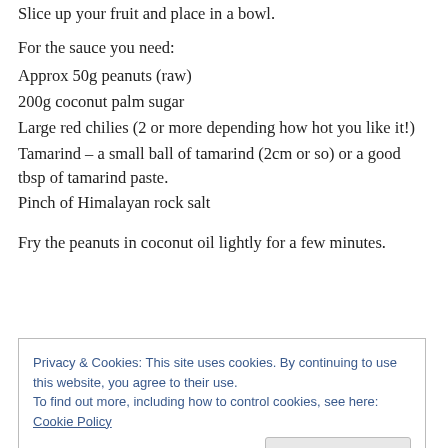Slice up your fruit and place in a bowl.
For the sauce you need:
Approx 50g peanuts (raw)
200g coconut palm sugar
Large red chilies (2 or more depending how hot you like it!)
Tamarind – a small ball of tamarind (2cm or so) or a good tbsp of tamarind paste.
Pinch of Himalayan rock salt
Fry the peanuts in coconut oil lightly for a few minutes.
Privacy & Cookies: This site uses cookies. By continuing to use this website, you agree to their use. To find out more, including how to control cookies, see here: Cookie Policy